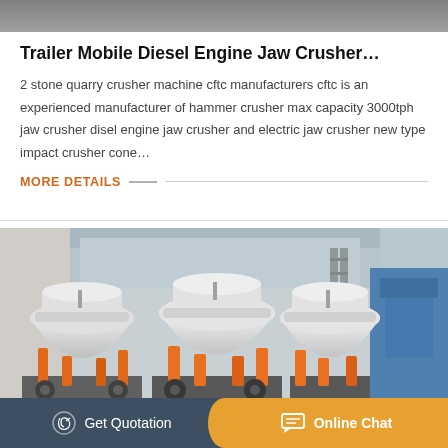[Figure (photo): Top portion of a machinery image, showing industrial equipment in gray tones]
Trailer Mobile Diesel Engine Jaw Crusher…
2 stone quarry crusher machine cftc manufacturers cftc is an experienced manufacturer of hammer crusher max capacity 3000tph jaw crusher disel engine jaw crusher and electric jaw crusher new type impact crusher cone…
MORE DETAILS
[Figure (photo): Industrial cone crushers in a factory setting, large white cone-shaped machines with orange hydraulic pistons, blue machinery in background]